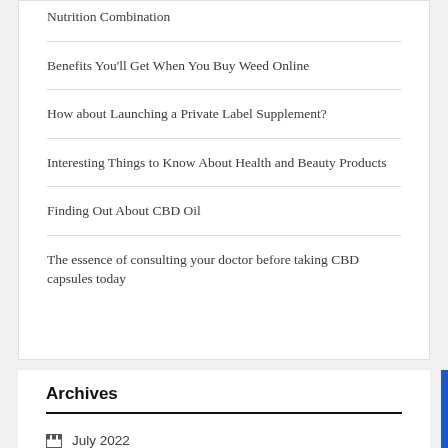Nutrition Combination
Benefits You'll Get When You Buy Weed Online
How about Launching a Private Label Supplement?
Interesting Things to Know About Health and Beauty Products
Finding Out About CBD Oil
The essence of consulting your doctor before taking CBD capsules today
Archives
July 2022
June 2022